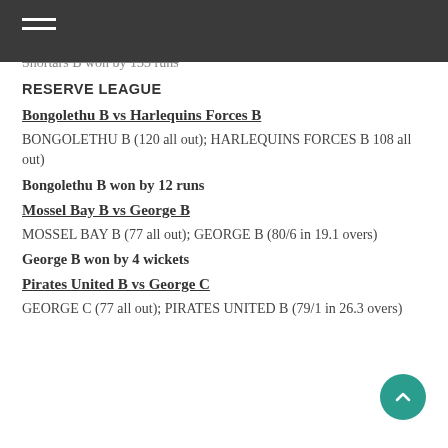Shortars B won by 133 runs
RESERVE LEAGUE
Bongolethu B vs Harlequins Forces B
BONGOLETHU B (120 all out); HARLEQUINS FORCES B 108 all out)
Bongolethu B won by 12 runs
Mossel Bay B vs George B
MOSSEL BAY B (77 all out); GEORGE B (80/6 in 19.1 overs)
George B won by 4 wickets
Pirates United B vs George C
GEORGE C (77 all out); PIRATES UNITED B (79/1 in 26.3 overs)